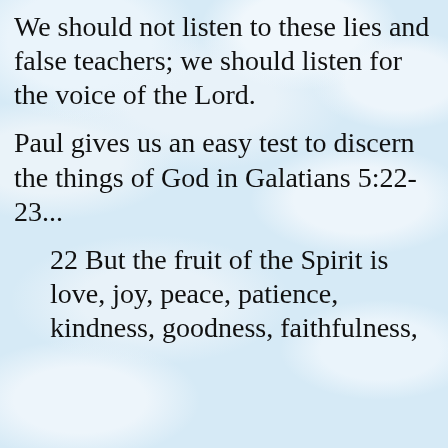We should not listen to these lies and false teachers; we should listen for the voice of the Lord.
Paul gives us an easy test to discern the things of God in Galatians 5:22-23...
22 But the fruit of the Spirit is love, joy, peace, patience, kindness, goodness, faithfulness,